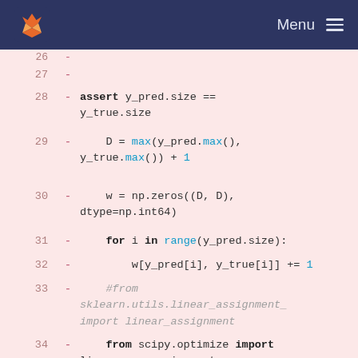[Figure (screenshot): GitLab navigation bar with fox logo and Menu hamburger icon on dark navy background]
26  -
27  -
28  -     assert y_pred.size == y_true.size
29  -     D = max(y_pred.max(), y_true.max()) + 1
30  -     w = np.zeros((D, D), dtype=np.int64)
31  -     for i in range(y_pred.size):
32  -         w[y_pred[i], y_true[i]] += 1
33  -     #from sklearn.utils.linear_assignment_ import linear_assignment
34  -     from scipy.optimize import linear_sum_assignment
35  -     row_ind, col_ind = linear_sum_assignment(w.max() - w)
36  -     return sum([w[i, j] for i, j in zip(row_ind, col_ind)]) * 1.0 / y_pred.size